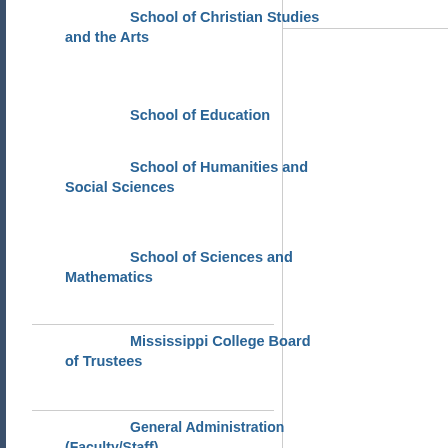School of Christian Studies and the Arts
School of Education
School of Humanities and Social Sciences
School of Sciences and Mathematics
Mississippi College Board of Trustees
General Administration (Faculty/Staff)
2015-2016 Graduate Catalog
My Personal Catalog
[Figure (photo): Clock tower of Mississippi College building, stone masonry with dome and clock face]